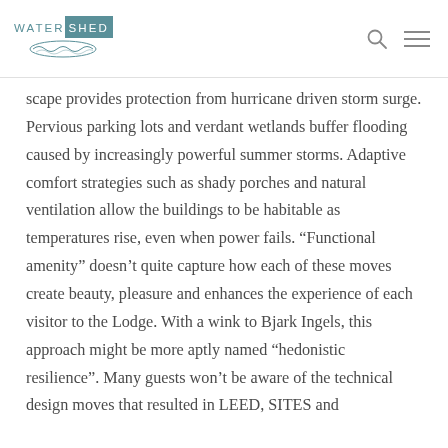WATERSHED
scape provides protection from hurricane driven storm surge. Pervious parking lots and verdant wetlands buffer flooding caused by increasingly powerful summer storms. Adaptive comfort strategies such as shady porches and natural ventilation allow the buildings to be habitable as temperatures rise, even when power fails. “Functional amenity” doesn’t quite capture how each of these moves create beauty, pleasure and enhances the experience of each visitor to the Lodge. With a wink to Bjark Ingels, this approach might be more aptly named “hedonistic resilience”. Many guests won’t be aware of the technical design moves that resulted in LEED, SITES and